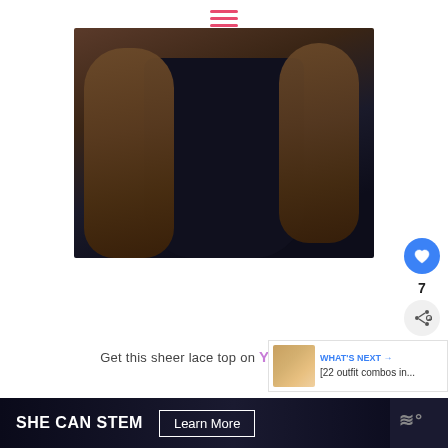[Figure (photo): Fashion photo showing person wearing a dark navy skirt and sheer brown lace sleeves/top, arms hanging down, white background]
Get this sheer lace top on YESSTY
[Figure (photo): WHAT'S NEXT → [22 outfit combos in... advertisement thumbnail showing brown shoes]
8. Fake two-piece top
[Figure (other): SHE CAN STEM advertisement banner with Learn More button]